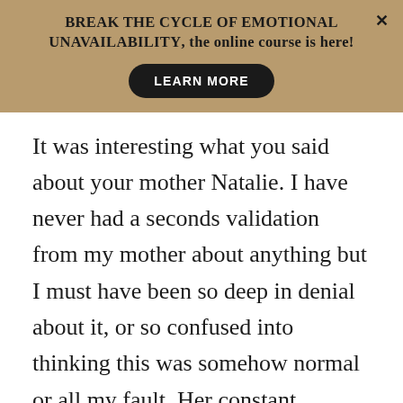BREAK THE CYCLE OF EMOTIONAL UNAVAILABILITY, the online course is here!
LEARN MORE
It was interesting what you said about your mother Natalie. I have never had a seconds validation from my mother about anything but I must have been so deep in denial about it, or so confused into thinking this was somehow normal or all my fault. Her constant criticism and undermining became my norm. I think I tried to please her as a small child but stopped